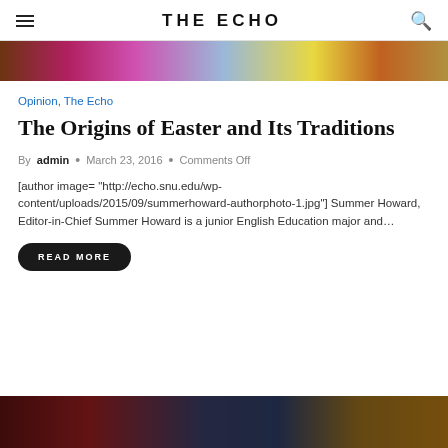THE ECHO
[Figure (photo): Top banner image with colorful background]
Opinion, The Echo
The Origins of Easter and Its Traditions
By admin • March 23, 2016 • Comments Off
[author image= "http://echo.snu.edu/wp-content/uploads/2015/09/summerhoward-authorphoto-1.jpg"] Summer Howard, Editor-in-Chief Summer Howard is a junior English Education major and…
READ MORE
[Figure (photo): Bottom image showing people in formal attire]